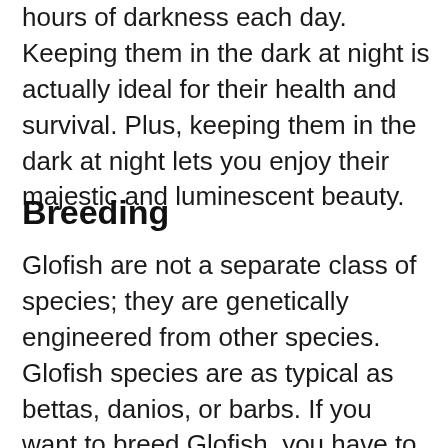hours of darkness each day. Keeping them in the dark at night is actually ideal for their health and survival. Plus, keeping them in the dark at night lets you enjoy their majestic and luminescent beauty.
Breeding
Glofish are not a separate class of species; they are genetically engineered from other species. Glofish species are as typical as bettas, danios, or barbs. If you want to breed Glofish, you have to know the breeding behavior of their species.